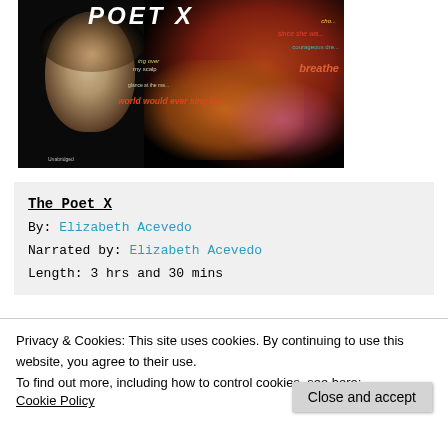[Figure (photo): Book cover of 'The Poet X' showing a stylized face of a young woman with colorful typography and dark background, labeled 'Unabridged']
The Poet X
By: Elizabeth Acevedo
Narrated by: Elizabeth Acevedo
Length: 3 hrs and 30 mins
Privacy & Cookies: This site uses cookies. By continuing to use this website, you agree to their use.
To find out more, including how to control cookies, see here:
Cookie Policy
Close and accept
I listened to the audiobook, which was OUTSTANDING,